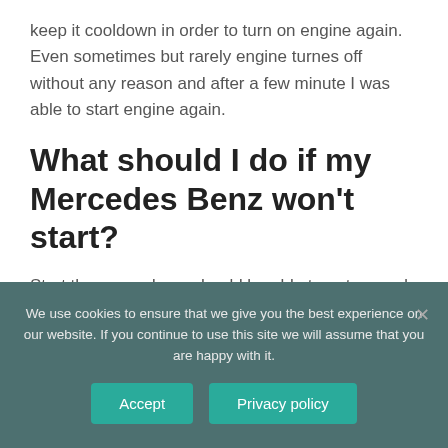keep it cooldown in order to turn on engine again. Even sometimes but rarely engine turnes off without any reason and after a few minute I was able to start engine again.
What should I do if my Mercedes Benz won't start?
Start the car and you should be able to get around 60 psi. When the engine is running and when you turn off the engine the pressure should stay steady. Always perform this test
We use cookies to ensure that we give you the best experience on our website. If you continue to use this site we will assume that you are happy with it.
Accept
Privacy policy